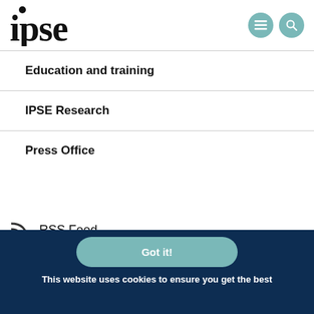[Figure (logo): IPSE logo in bold serif font with dot above i]
Education and training
IPSE Research
Press Office
RSS Feed
Got it!
This website uses cookies to ensure you get the best